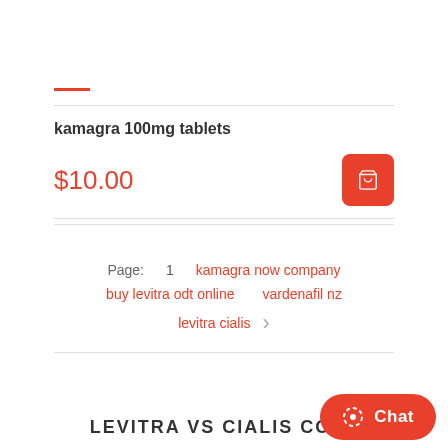kamagra 100mg tablets
$10.00
Page: 1   kamagra now company   buy levitra odt online   vardenafil nz   levitra cialis
LEVITRA VS CIALIS COST